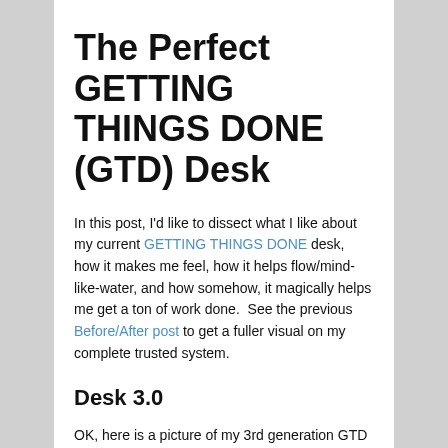The Perfect GETTING THINGS DONE (GTD) Desk
In this post, I'd like to dissect what I like about my current GETTING THINGS DONE desk, how it makes me feel, how it helps flow/mind-like-water, and how somehow, it magically helps me get a ton of work done.  See the previous Before/After post to get a fuller visual on my complete trusted system.
Desk 3.0
OK, here is a picture of my 3rd generation GTD desk which includes the legs.  The rest of this post is a